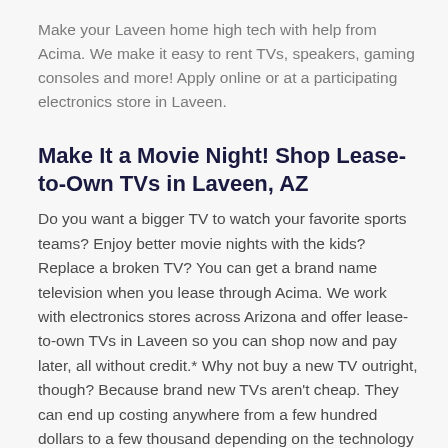Make your Laveen home high tech with help from Acima. We make it easy to rent TVs, speakers, gaming consoles and more! Apply online or at a participating electronics store in Laveen.
Make It a Movie Night! Shop Lease-to-Own TVs in Laveen, AZ
Do you want a bigger TV to watch your favorite sports teams? Enjoy better movie nights with the kids? Replace a broken TV? You can get a brand name television when you lease through Acima. We work with electronics stores across Arizona and offer lease-to-own TVs in Laveen so you can shop now and pay later, all without credit.* Why not buy a new TV outright, though? Because brand new TVs aren't cheap. They can end up costing anywhere from a few hundred dollars to a few thousand depending on the technology and screen size! When you rent-to-own a TV in